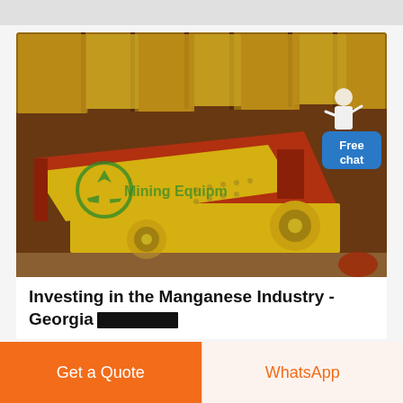[Figure (photo): Mining/screening equipment — a yellow and red vibrating screen machine in an industrial facility with yellow metal structures in background. A green recycling-style logo and text 'Mining Equipment' watermark visible. A 'Free chat' badge with a person icon in the top-right corner of the image.]
Investing in the Manganese Industry - Georgia
Get a Quote
WhatsApp